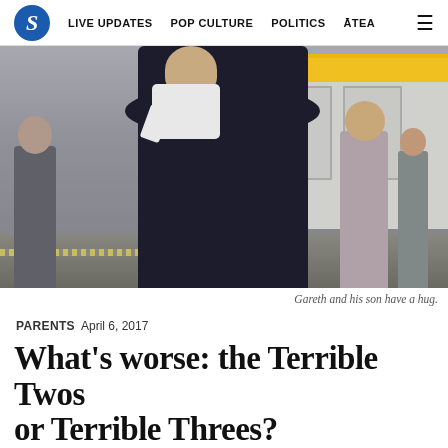S  LIVE UPDATES  POP CULTURE  POLITICS  ĀTEA  ☰
[Figure (photo): A tall person (Gareth) seen from behind wearing a dark navy t-shirt, holding a young child on their shoulders. They stand on a busy train platform with a yellow and grey train on the right, and other commuters visible around them.]
Gareth and his son have a hug.
PARENTS  April 6, 2017
What's worse: the Terrible Twos or Terrible Threes?